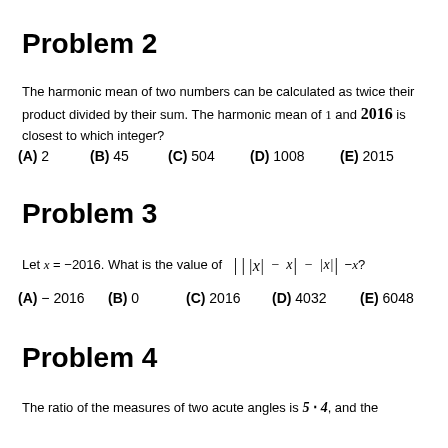Problem 2
The harmonic mean of two numbers can be calculated as twice their product divided by their sum. The harmonic mean of 1 and 2016 is closest to which integer?
(A) 2    (B) 45    (C) 504    (D) 1008    (E) 2015
Problem 3
Let x = −2016. What is the value of |||x| − x| − |x|| − x?
(A) −2016    (B) 0    (C) 2016    (D) 4032    (E) 6048
Problem 4
The ratio of the measures of two acute angles is 5 : 4, and the